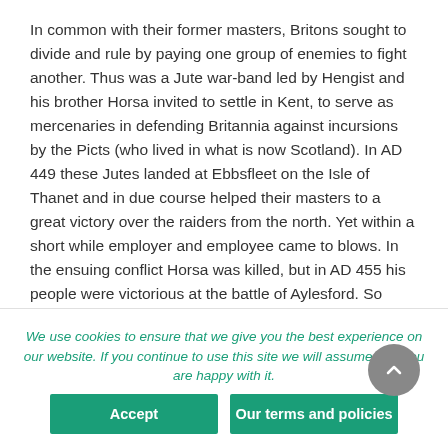In common with their former masters, Britons sought to divide and rule by paying one group of enemies to fight another. Thus was a Jute war-band led by Hengist and his brother Horsa invited to settle in Kent, to serve as mercenaries in defending Britannia against incursions by the Picts (who lived in what is now Scotland). In AD 449 these Jutes landed at Ebbsfleet on the Isle of Thanet and in due course helped their masters to a great victory over the raiders from the north. Yet within a short while employer and employee came to blows. In the ensuing conflict Horsa was killed, but in AD 455 his people were victorious at the battle of Aylesford. So tradition has it that the English conquest began. It was bloody and bitter. In contrast to barbarian conquerors in continental Europe, the newcomers seem to have conducted a campaign of what we would now call ethnic cleansing, dispossessing and driving back the
We use cookies to ensure that we give you the best experience on our website. If you continue to use this site we will assume that you are happy with it.